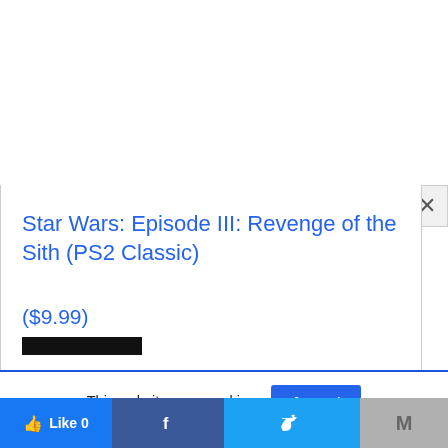Star Wars: Episode III: Revenge of the Sith (PS2 Classic)
($9.99)
[Figure (screenshot): Product image placeholder (gray box) for Star Wars Episode III PS2 Classic]
This website uses cookies.
Accept
Like 0 | Facebook | Twitter | Gmail